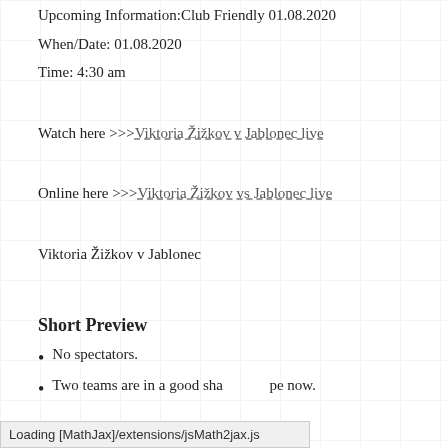Upcoming Information:Club Friendly 01.08.2020
When/Date: 01.08.2020
Time: 4:30 am
Watch here >>>Viktoria Žižkov v Jablonec live
Online here >>>Viktoria Žižkov vs Jablonec live
Viktoria Žižkov v Jablonec
Short Preview
No spectators.
Two teams are in a good shape now.
Loading [MathJax]/extensions/jsMath2jax.js